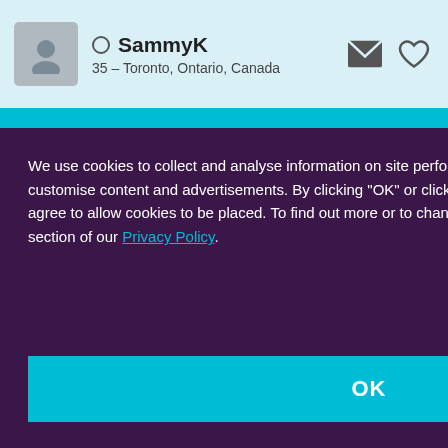SammyK — 35 – Toronto, Ontario, Canada
Success Stories
Safety
Community Guidelines
Help & Info
Contact Us
Privacy Policy
Terms of Use
Blog
We use cookies to collect and analyse information on site performance and usage, and to enhance and customise content and advertisements. By clicking "OK" or clicking into any content on this site you agree to allow cookies to be placed. To find out more or to change your cookie settings, visit the cookies section of our Privacy Policy.
ade marks
served.
OK